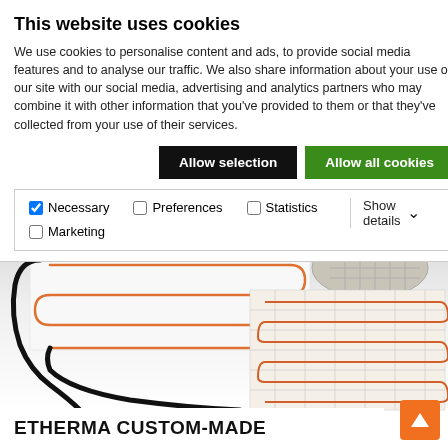This website uses cookies
We use cookies to personalise content and ads, to provide social media features and to analyse our traffic. We also share information about your use of our site with our social media, advertising and analytics partners who may combine it with other information that you've provided to them or that they've collected from your use of their services.
Allow selection | Allow all cookies
Necessary  Preferences  Statistics  Marketing  Show details
[Figure (photo): Two underfloor heating mats: one loose cable mat on the left (black cable in serpentine pattern) and one mesh mat on the right (partially rolled up, showing orange/copper heating wire woven onto a white mesh backing)]
ETHERMA CUSTOM-MADE